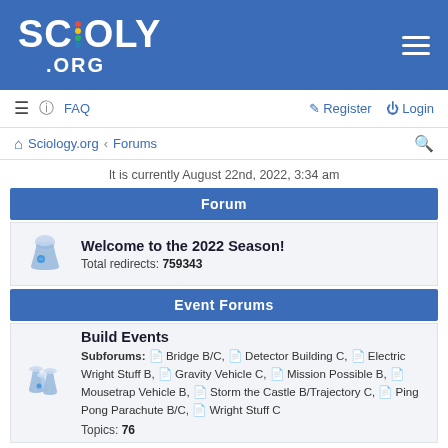[Figure (logo): SCIOLY.ORG logo in white text on blue background with colorful exclamation mark]
≡  FAQ    Register  Login
🏠 Sciology.org ‹ Forums
It is currently August 22nd, 2022, 3:34 am
Forum
Welcome to the 2022 Season! Total redirects: 759343
Event Forums
Build Events Subforums: Bridge B/C, Detector Building C, Electric Wright Stuff B, Gravity Vehicle C, Mission Possible B, Mousetrap Vehicle B, Storm the Castle B/Trajectory C, Ping Pong Parachute B/C, Wright Stuff C Topics: 76